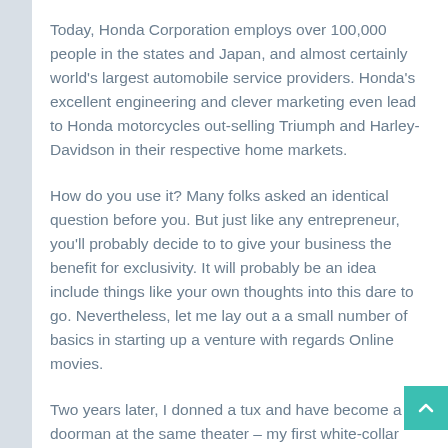Today, Honda Corporation employs over 100,000 people in the states and Japan, and almost certainly world's largest automobile service providers. Honda's excellent engineering and clever marketing even lead to Honda motorcycles out-selling Triumph and Harley-Davidson in their respective home markets.
How do you use it? Many folks asked an identical question before you. But just like any entrepreneur, you'll probably decide to to give your business the benefit for exclusivity. It will probably be an idea include things like your own thoughts into this dare to go. Nevertheless, let me lay out a a small number of basics in starting up a venture with regards Online movies.
Two years later, I donned a tux and have become a doorman at the same theater – my first white-collar summer job. I bought a trench-coat like Robert